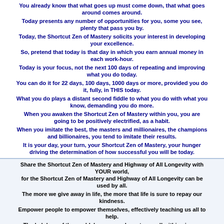You already know that what goes up must come down, that what goes around comes around.
Today presents any number of opportunities for you, some you see, plenty that pass you by.
Today, the Shortcut Zen of Mastery solicits your interest in developing your excellence.
So, pretend that today is that day in which you earn annual money in each work-hour.
Today is your focus, not the next 100 days of repeating and improving what you do today.
You can do it for 22 days, 100 days, 1000 days or more, provided you do it, fully, in THIS today.
What you do plays a distant second fiddle to what you do with what you know, demanding you do more.
When you awaken the Shortcut Zen of Mastery within you, you are going to be positively electrified, as a habit.
When you imitate the best, the masters and millionaires, the champions and billionaires, you tend to imitate their results.
It is your day, your turn, your Shortcut Zen of Mastery, your hunger driving the determination of how successful you will be today.
Share the Shortcut Zen of Mastery and Highway of All Longevity with YOUR world, for the Shortcut Zen of Mastery and Highway of All Longevity can be used by all.
The more we give away in life, the more that life is sure to repay our kindness.
Empower people to empower themselves, effectively teaching us all to help.
The helpless of the world, humans and creatures, all within air, sea